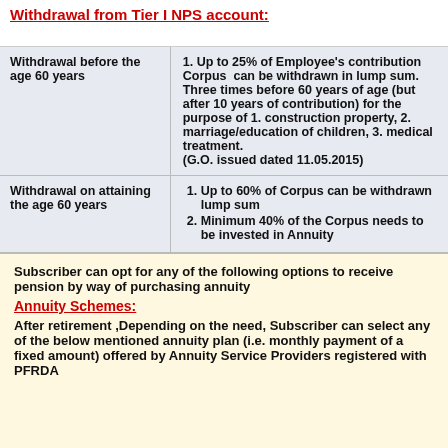Withdrawal from Tier I NPS account:
|  |  |
| --- | --- |
| Withdrawal before the age 60 years | 1. Up to 25% of Employee's contribution Corpus can be withdrawn in lump sum. Three times before 60 years of age (but after 10 years of contribution) for the purpose of 1. construction property, 2. marriage/education of children, 3. medical treatment. (G.O. issued dated 11.05.2015) |
| Withdrawal on attaining the age 60 years | 1. Up to 60% of Corpus can be withdrawn lump sum
2. Minimum 40% of the Corpus needs to be invested in Annuity |
Subscriber can opt for any of the following options to receive pension by way of purchasing annuity
Annuity Schemes:
After retirement ,Depending on the need, Subscriber can select any of the below mentioned annuity plan (i.e. monthly payment of a fixed amount) offered by Annuity Service Providers registered with PFRDA